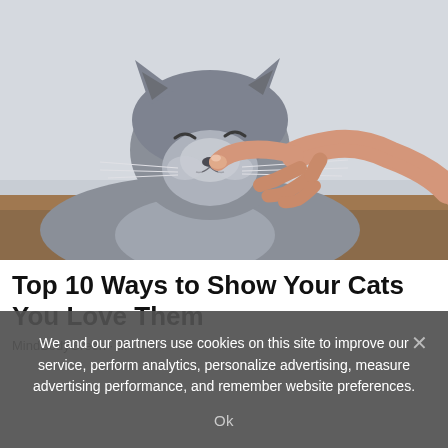[Figure (photo): A grey British Shorthair cat with eyes closed contentedly, being poked on the nose by a human finger/hand]
Top 10 Ways to Show Your Cats You Love Them
We and our partners use cookies on this site to improve our service, perform analytics, personalize advertising, measure advertising performance, and remember website preferences.
Ok